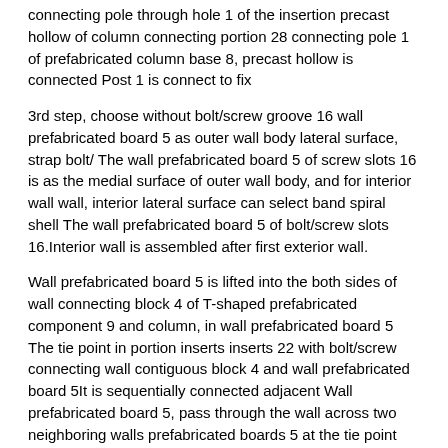connecting pole through hole 1 of the insertion precast hollow of column connecting portion 28 connecting pole 1 of prefabricated column base 8, precast hollow is connected Post 1 is connect to fix.
3rd step, choose without bolt/screw groove 16 wall prefabricated board 5 as outer wall body lateral surface, strap bolt/ The wall prefabricated board 5 of screw slots 16 is as the medial surface of outer wall body, and for interior wall wall, interior lateral surface can select band spiral shell The wall prefabricated board 5 of bolt/screw slots 16.Interior wall is assembled after first exterior wall.
Wall prefabricated board 5 is lifted into the both sides of wall connecting block 4 of T-shaped prefabricated component 9 and column, in wall prefabricated board 5 The tie point in portion inserts inserts 22 with bolt/screw connecting wall contiguous block 4 and wall prefabricated board 5.It is sequentially connected adjacent Wall prefabricated board 5, pass through the wall across two neighboring walls prefabricated boards 5 at the tie point between adjacent wall prefabricated board 5 Body contiguous block 4 is connected with bolt/screw, completes the connection of one layer of wall.